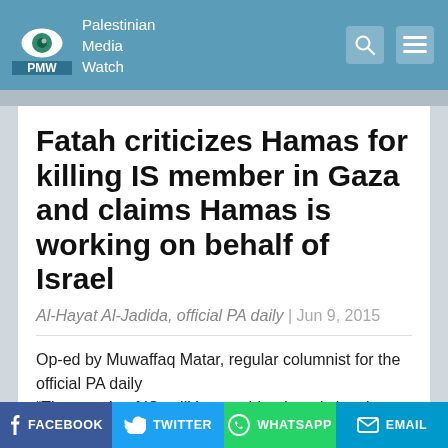Palestinian Media Watch
Fatah criticizes Hamas for killing IS member in Gaza and claims Hamas is working on behalf of Israel
Al-Hayat Al-Jadida, official PA daily | Jun 9, 2015
Op-ed by Muwaffaq Matar, regular columnist for the official PA daily
“The people of IS spill human blood, and slaughter anyone who disagrees with them or opposes them, even in his opinion or belief. They
FACEBOOK  TWITTER  WHATSAPP  EMAIL